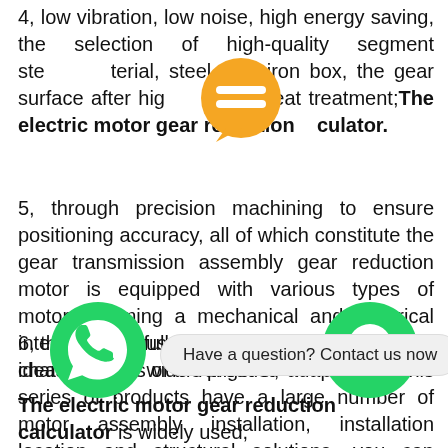4, low vibration, low noise, high energy saving, the selection of high-quality segment steel material, steel cast iron box, the gear surface after high frequency heat treatment;The electric motor gear reduction calculator.
5, through precision machining to ensure positioning accuracy, all of which constitute the gear transmission assembly gear reduction motor is equipped with various types of motors, forming a mechanical and electrical integration, fully guarantee the quality characteristics of the product;
6, the product uses a series of, modular design ideas, has a wide range of adaptability, this series of products have a large number of motor assembly installation, installation location and structural solutions, you can choose any speed and various structural forms according to actual need
The electric motor gear reduction calculator is widely used,